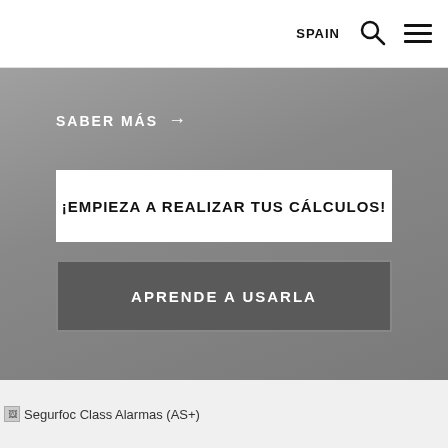SPAIN
SABER MÁS →
¡EMPIEZA A REALIZAR TUS CÁLCULOS!
APRENDE A USARLA
[Figure (other): Broken image placeholder for Segurfoc Class Alarmas (AS+)]